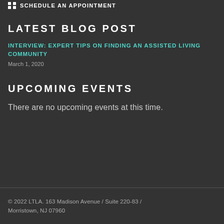SCHEDULE AN APPOINTMENT
LATEST BLOG POST
INTERVIEW: EXPERT TIPS ON FINDING AN ASSISTED LIVING COMMUNITY
March 1, 2020
UPCOMING EVENTS
There are no upcoming events at this time.
© 2022 LTLA. 163 Madison Avenue / Suite 220-83 / Morristown, NJ 07960